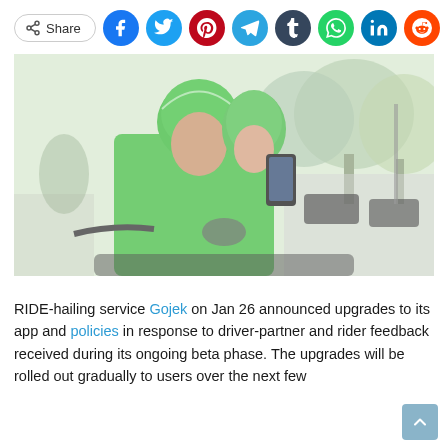[Figure (infographic): Social share bar with Share button and social media icons: Facebook (blue), Twitter (cyan), Pinterest (dark red), Telegram (blue), Tumblr (dark navy), WhatsApp (green), LinkedIn (dark blue), Reddit (orange)]
[Figure (photo): A Gojek motorcycle driver wearing a green helmet and green Gojek jacket taking a selfie with a female passenger who is also wearing a green helmet, on a street with trees and parked cars in the background.]
RIDE-hailing service Gojek on Jan 26 announced upgrades to its app and policies in response to driver-partner and rider feedback received during its ongoing beta phase. The upgrades will be rolled out gradually to users over the next few